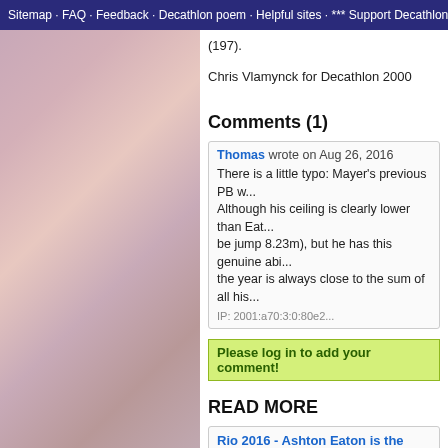Sitemap · FAQ · Feedback · Decathlon poem · Helpful sites · *** Support Decathlon
(197).
Chris Vlamynck for Decathlon 2000
Comments (1)
Thomas wrote on Aug 26, 2016
There is a little typo: Mayer's previous PB w... Although his ceiling is clearly lower than Eat... be jump 8.23m), but he has this genuine abi... the year is always close to the sum of all his...
IP: 2001:a70:3:0:80e2...
Please log in to add your comment!
Read more
Rio 2016 - Ashton Eaton is the Olym...